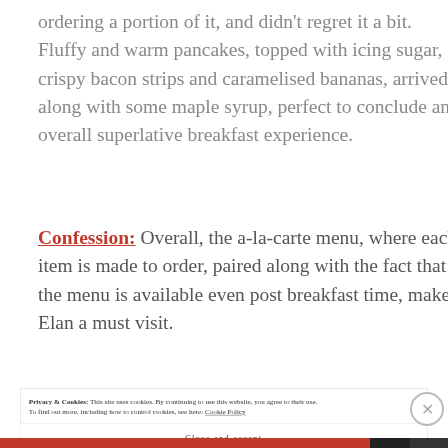ordering a portion of it, and didn't regret it a bit. Fluffy and warm pancakes, topped with icing sugar, crispy bacon strips and caramelised bananas, arrived along with some maple syrup, perfect to conclude an overall superlative breakfast experience.
Confession: Overall, the a-la-carte menu, where each item is made to order, paired along with the fact that the menu is available even post breakfast time, make Elan a must visit.
Privacy & Cookies: This site uses cookies. By continuing to use this website, you agree to their use. To find out more, including how to control cookies, see here: Cookie Policy
Close and accept